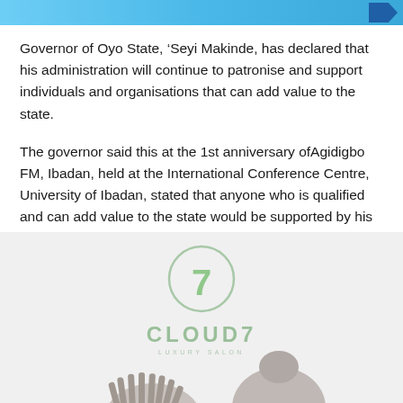Governor of Oyo State, ‘Seyi Makinde, has declared that his administration will continue to patronise and support individuals and organisations that can add value to the state.
The governor said this at the 1st anniversary ofAgidigbo FM, Ibadan, held at the International Conference Centre, University of Ibadan, stated that anyone who is qualified and can add value to the state would be supported by his government.
[Figure (logo): Cloud7 luxury salon logo — a circle outline with the number 7 inside, below which is the text CLOUD7 in large spaced letters and a small tagline below]